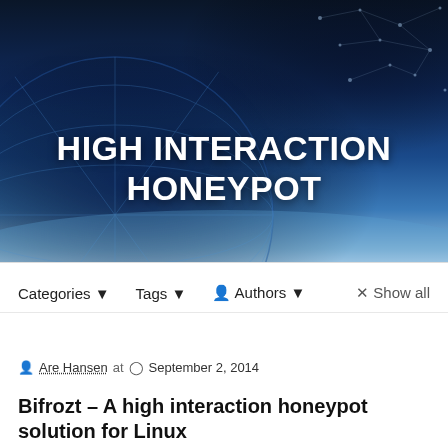[Figure (illustration): Dark blue hero banner with a digital globe/earth graphic on the left, network dot pattern on the upper right, and gradient sky at the bottom. White bold text reads HIGH INTERACTION HONEYPOT centered in the image.]
HIGH INTERACTION HONEYPOT
Categories ▼   Tags ▼   👤 Authors ▼   × Show all
Are Hansen at  September 2, 2014
Bifrozt – A high interaction honeypot solution for Linux